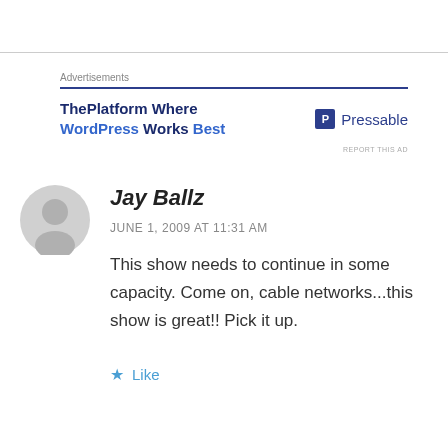[Figure (other): Advertisement banner: ThePlatform Where WordPress Works Best, with Pressable logo]
Jay Ballz
JUNE 1, 2009 AT 11:31 AM
This show needs to continue in some capacity. Come on, cable networks...this show is great!! Pick it up.
Like